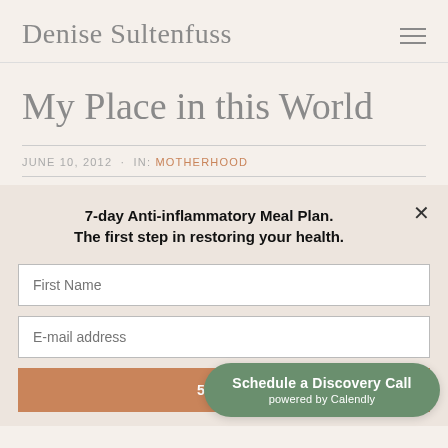Denise Sultenfuss
My Place in this World
JUNE 10, 2012 · IN: MOTHERHOOD
7-day Anti-inflammatory Meal Plan. The first step in restoring your health.
First Name
E-mail address
5-Day L
Schedule a Discovery Call powered by Calendly